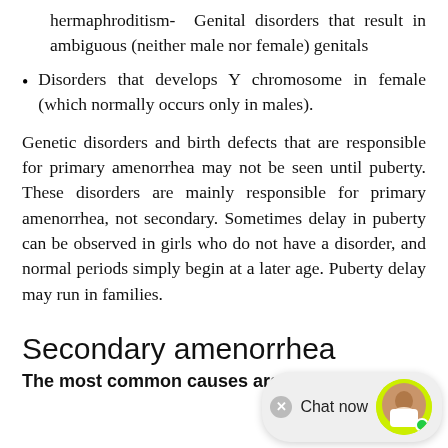hermaphroditism- Genital disorders that result in ambiguous (neither male nor female) genitals
Disorders that develops Y chromosome in female (which normally occurs only in males).
Genetic disorders and birth defects that are responsible for primary amenorrhea may not be seen until puberty. These disorders are mainly responsible for primary amenorrhea, not secondary. Sometimes delay in puberty can be observed in girls who do not have a disorder, and normal periods simply begin at a later age. Puberty delay may run in families.
Secondary amenorrhea
The most common causes are